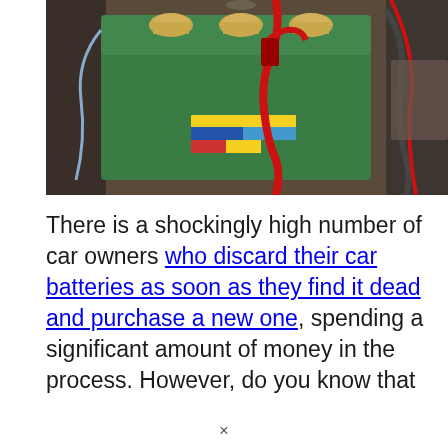[Figure (photo): Close-up photograph of a green car battery with yellow warning label sticker and multiple terminal caps, a red jumper cable clamp attached, surrounded by engine bay components.]
There is a shockingly high number of car owners who discard their car batteries as soon as they find it dead and purchase a new one, spending a significant amount of money in the process. However, do you know that
×